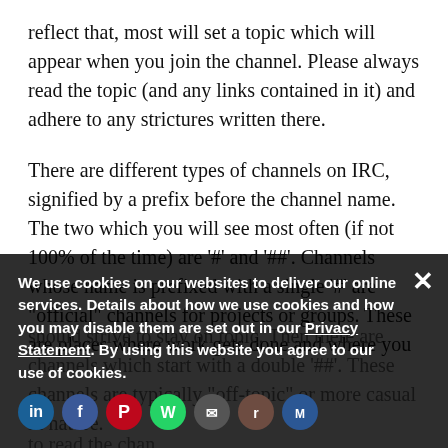reflect that, most will set a topic which will appear when you join the channel. Please always read the topic (and any links contained in it) and adhere to any strictures written there.
There are different types of channels on IRC, signified by a prefix before the channel name. The two which you will see most often (if not 100% of the time) are '#' and '##'. Channels whose name is prefixed with a single '#' are "official" channels for projects or groups. These are places where work gets done and where you should strive to stay on topic. Then there are channels which start with a double '##'. These channels are typically "off-topic" or more casual in nature.
We use cookies on our websites to deliver our online services. Details about how we use cookies and how you may disable them are set out in our Privacy Statement. By using this website you agree to our use of cookies.